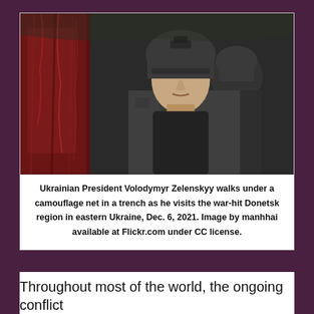[Figure (photo): Ukrainian President Volodymyr Zelenskyy in military gear with helmet, walking under a camouflage net in a trench in the Donetsk region. The image is partially desaturated with red-toned earthen wall on the left.]
Ukrainian President Volodymyr Zelenskyy walks under a camouflage net in a trench as he visits the war-hit Donetsk region in eastern Ukraine, Dec. 6, 2021. Image by manhhai available at Flickr.com under CC license.
Throughout most of the world, the ongoing conflict